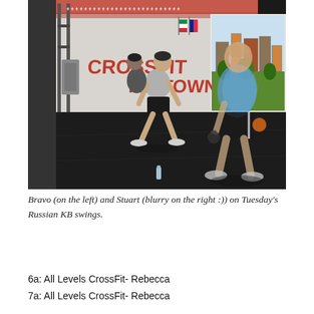[Figure (photo): Two men doing Russian kettlebell swings in a CrossFit Midtown gym. On the left is Bravo, performing a squat/swing movement in a grey sleeveless shirt and black shorts. On the right is Stuart, blurry, wearing a blue shirt and black shorts with white stripes. The gym has a painted city mural on the white brick wall on the right, and the red 'CrossFit Midtown' text on the wall. The floor is dark rubber matting. A water bottle is visible on the floor in the center.]
Bravo (on the left) and Stuart (blurry on the right :)) on Tuesday's Russian KB swings.
6a: All Levels CrossFit- Rebecca
7a: All Levels CrossFit- Rebecca